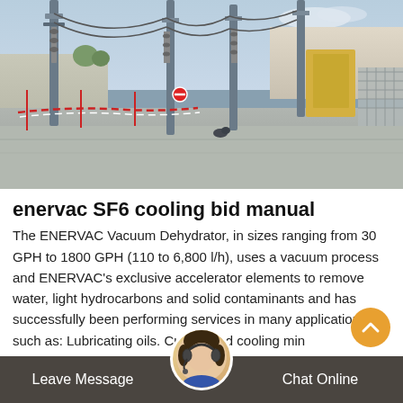[Figure (photo): Outdoor electrical substation with tall poles, insulators, cables, and safety tape barriers on a concrete surface under a blue sky]
enervac SF6 cooling bid manual
The ENERVAC Vacuum Dehydrator, in sizes ranging from 30 GPH to 1800 GPH (110 to 6,800 l/h), uses a vacuum process and ENERVAC's exclusive accelerator elements to remove water, light hydrocarbons and solid contaminants and has successfully been performing services in many applications such as: Lubricating oils. Cutting and cooling min
Leave Message  Chat Online